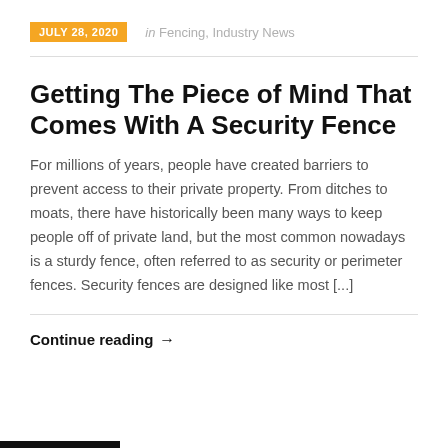JULY 28, 2020  in Fencing, Industry News
Getting The Piece of Mind That Comes With A Security Fence
For millions of years, people have created barriers to prevent access to their private property. From ditches to moats, there have historically been many ways to keep people off of private land, but the most common nowadays is a sturdy fence, often referred to as security or perimeter fences. Security fences are designed like most [...]
Continue reading →